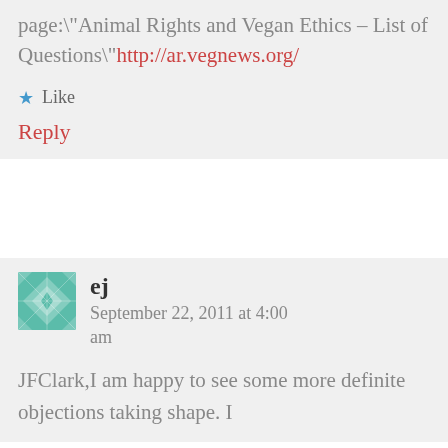page:"Animal Rights and Vegan Ethics – List of Questions\"http://ar.vegnews.org/
★ Like
Reply
ej  September 22, 2011 at 4:00 am
JFClark,I am happy to see some more definite objections taking shape. I